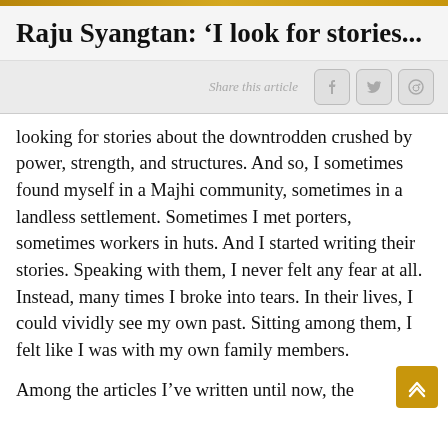Raju Syangtan: ‘I look for stories...
Share this article
looking for stories about the downtrodden crushed by power, strength, and structures. And so, I sometimes found myself in a Majhi community, sometimes in a landless settlement. Sometimes I met porters, sometimes workers in huts. And I started writing their stories. Speaking with them, I never felt any fear at all. Instead, many times I broke into tears. In their lives, I could vividly see my own past. Sitting among them, I felt like I was with my own family members.
Among the articles I’ve written until now, the